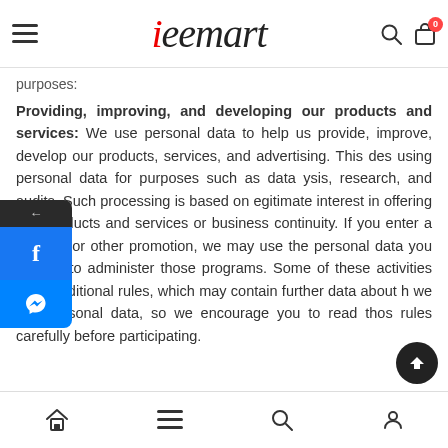teemart — website header with logo, hamburger menu, search and bag icons
purposes:
Providing, improving, and developing our products and services: We use personal data to help us provide, improve, develop our products, services, and advertising. This des using personal data for purposes such as data ysis, research, and audits. Such processing is based on egitimate interest in offering you products and services or business continuity. If you enter a contest, or other promotion, we may use the personal data you provide to administer those programs. Some of these activities have additional rules, which may contain further data about how we use personal data, so we encourage you to read those rules carefully before participating.
Bottom navigation bar with home, menu, search, and account icons